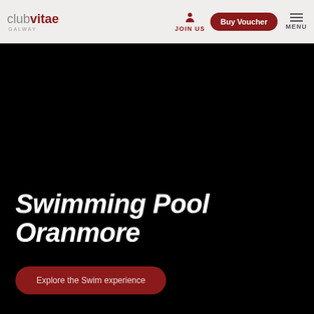club vitae GALWAY — JOIN US | Buy Voucher | MENU
[Figure (screenshot): Dark hero image (black background) for Club Vitae Galway swimming pool page]
Swimming Pool Oranmore
Explore the Swim experience